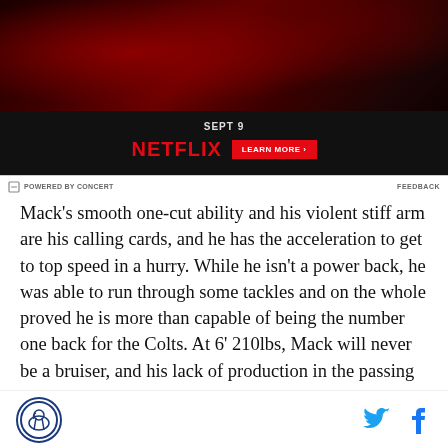[Figure (advertisement): Netflix advertisement with dark horror-themed background showing cast of a show. Text reads SEPT 9, NETFLIX, LEARN MORE button.]
⊟ POWERED BY CONCERT    FEEDBACK
Mack's smooth one-cut ability and his violent stiff arm are his calling cards, and he has the acceleration to get to top speed in a hurry. While he isn't a power back, he was able to run through some tackles and on the whole proved he is more than capable of being the number one back for the Colts. At 6' 210lbs, Mack will never be a bruiser, and his lack of production in the passing
Site logo, Twitter icon, Facebook icon